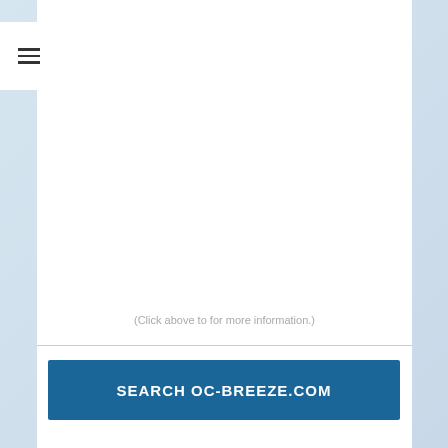[Figure (screenshot): Hamburger menu icon button in white box at top left]
(Click above to for more information.)
[Figure (other): Search button with text SEARCH OC-BREEZE.COM on dark blue background]